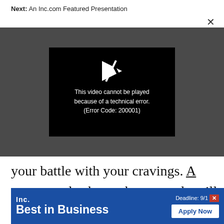Next: An Inc.com Featured Presentation
[Figure (screenshot): Video player showing error message: 'This video cannot be played because of a technical error. (Error Code: 200001)' on a dark gray background with a broken play icon.]
your battle with your cravings. A recent study shows that not only will eating pasta up to three times a week not make you fat, it might
[Figure (other): Inc. Best in Business advertisement banner with blue background, showing 'Inc. Best in Business' text, 'Deadline: 9/1' and 'Apply Now' button.]